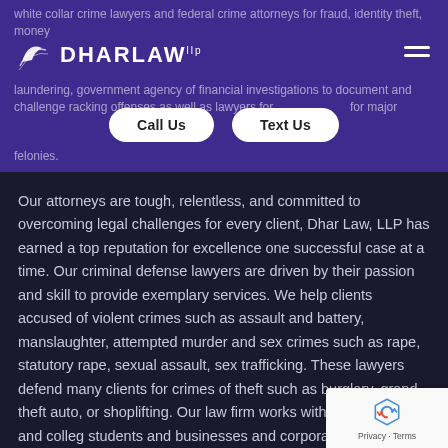white collar crime lawyers and federal crime attorneys for fraud, identity theft, money laundering, government agency of financial investigations to document and challenge racking offenses as well as lawyers for major felonies.
[Figure (logo): Dhar Law LLP logo with swoosh icon and white text on purple background]
Call Us   Text Us
Our attorneys are tough, relentless, and committed to overcoming legal challenges for every client, Dhar Law, LLP has earned a top reputation for excellence one successful case at a time. Our criminal defense lawyers are driven by their passion and skill to provide exemplary services. We help clients accused of violent crimes such as assault and battery, manslaughter, attempted murder and sex crimes such as rape, statutory rape, sexual assault, sex trafficking. These lawyers defend many clients for crimes of theft such as burglary, grand theft auto, or shoplifting. Our law firm works with individuals, and college students and businesses and corporations (accused of PPP Fraud) to community entrepreneurs and nonprofits. Choo criminal defense attorneys who have become known and